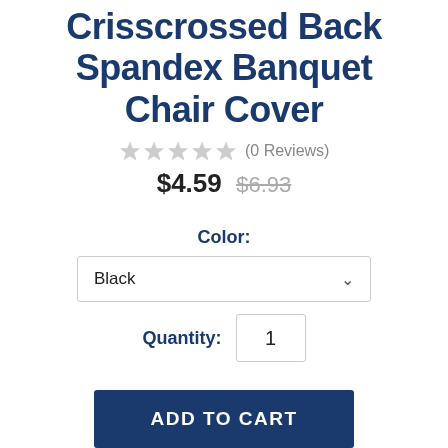Crisscrossed Back Spandex Banquet Chair Cover
★★★★★ (0 Reviews)
$4.59  $6.93
Color:
Black
Quantity: 1
ADD TO CART